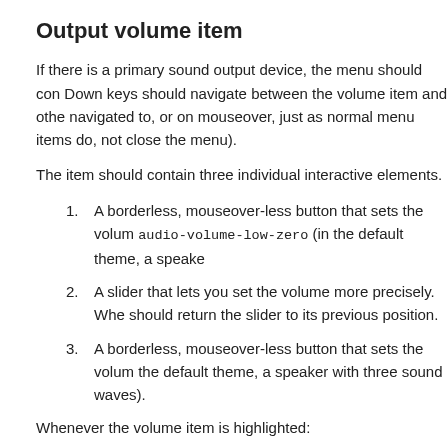Output volume item
If there is a primary sound output device, the menu should con Down keys should navigate between the volume item and othe navigated to, or on mouseover, just as normal menu items do, not close the menu).
The item should contain three individual interactive elements.
1. A borderless, mouseover-less button that sets the volum audio-volume-low-zero (in the default theme, a speake
2. A slider that lets you set the volume more precisely. Whe should return the slider to its previous position.
3. A borderless, mouseover-less button that sets the volum the default theme, a speaker with three sound waves).
Whenever the volume item is highlighted:
The Left and Right arrow keys should instantly decrease
The “-” and “+” keys should instantly decrease or increa
Rolling a mousewheel up or down should increase or dec
Ctrl Left and Ctrl Right should decrease the volume to 0